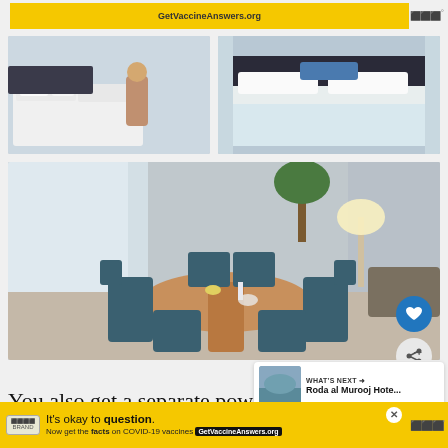[Figure (screenshot): Top advertisement banner with yellow background and GetVaccineAnswers.org text, with watermark logo on right]
[Figure (photo): Hotel room photo showing a child sitting on a sofa bed with white bedding, sheer curtains in background]
[Figure (photo): Hotel room photo showing a neatly made bed with white linens and pillows, with a blue accent pillow]
[Figure (photo): Hotel suite dining area with round wooden table, blue-upholstered chairs, a lamp, plant, and sheer curtains. Heart and share buttons visible on right side. What's Next card showing Roda al Murooj Hotel.]
You also get a separate powder room with the Suites, and we loved the Fair Trade
[Figure (screenshot): Bottom advertisement banner: yellow background with COVID-19 vaccine information. Text: It's okay to question. Now get the facts on COVID-19 vaccines. GetVaccineAnswers.org. Close button and watermark logo visible.]